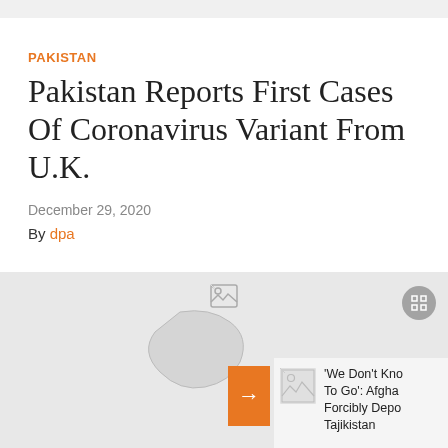PAKISTAN
Pakistan Reports First Cases Of Coronavirus Variant From U.K.
December 29, 2020
By dpa
[Figure (screenshot): News article page showing a map image placeholder with broken image icon, a fullscreen button, an orange arrow navigation button, and a sidebar panel with a broken image thumbnail and partial text reading: 'We Don't Kno... To Go': Afgha... Forcibly Depo... Tajikistan]